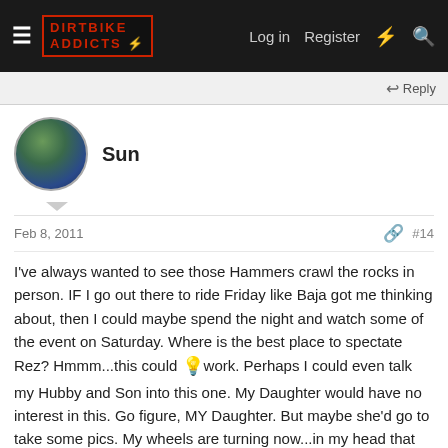DIRTBIKE ADDICTS — Log in  Register
Reply
Sun
Feb 8, 2011  #14
I've always wanted to see those Hammers crawl the rocks in person. IF I go out there to ride Friday like Baja got me thinking about, then I could maybe spend the night and watch some of the event on Saturday. Where is the best place to spectate Rez? Hmmm...this could 💡work. Perhaps I could even talk my Hubby and Son into this one. My Daughter would have no interest in this. Go figure, MY Daughter. But maybe she'd go to take some pics. My wheels are turning now...in my head that is.
Reply
timour